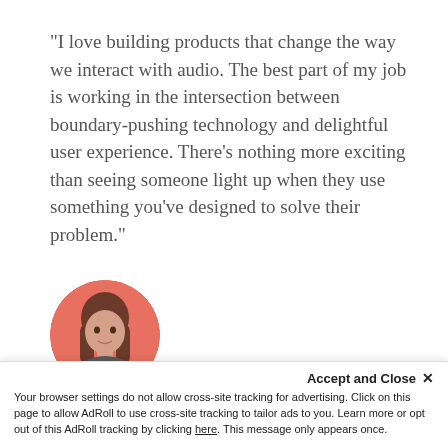“I love building products that change the way we interact with audio. The best part of my job is working in the intersection between boundary-pushing technology and delightful user experience. There’s nothing more exciting than seeing someone light up when they use something you’ve designed to solve their problem.”
[Figure (photo): Circular profile photo of Claire Roberts against a coral/salmon pink background]
Claire Roberts
CO-FOUNDER & HEAD OF PRODUCT, ENTALE
Accept and Close ×
Your browser settings do not allow cross-site tracking for advertising. Click on this page to allow AdRoll to use cross-site tracking to tailor ads to you. Learn more or opt out of this AdRoll tracking by clicking here. This message only appears once.